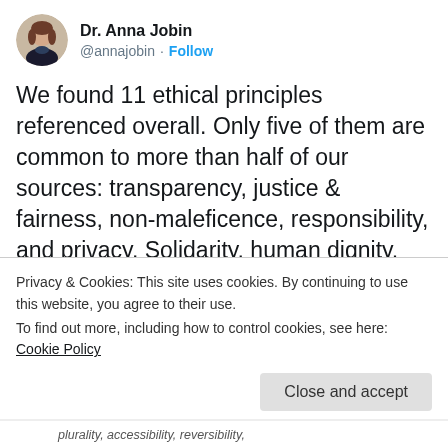[Figure (photo): Twitter/X profile screenshot showing Dr. Anna Jobin's avatar and handle]
Dr. Anna Jobin @annajobin · Follow
We found 11 ethical principles referenced overall. Only five of them are common to more than half of our sources: transparency, justice & fairness, non-maleficence, responsibility, and privacy. Solidarity, human dignity, and sustainability are significantly underrepresented. 2/n
Table 3 | Ethical principles identified in existing AI guidelines
Privacy & Cookies: This site uses cookies. By continuing to use this website, you agree to their use.
To find out more, including how to control cookies, see here: Cookie Policy
Close and accept
plurality, accessibility, reversibility,